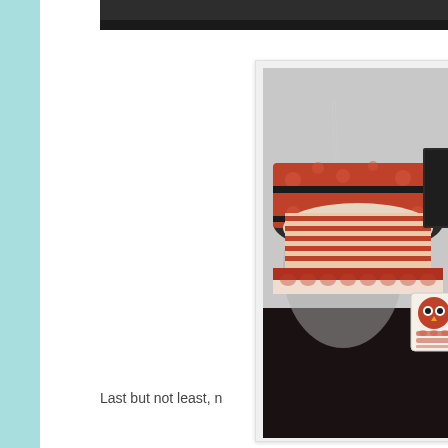[Figure (photo): Decorative paper craft cylindrical box with red and white patterned paper, striped lining, and a small owl-themed tag, sitting on a dark surface against a light wall background.]
Last but not least, n